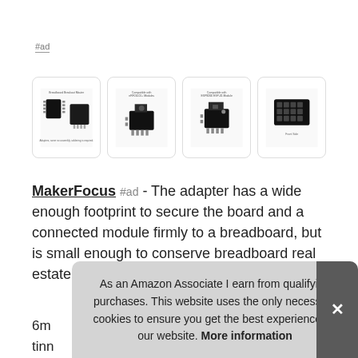#ad
[Figure (photo): Four product images of MakerFocus breadboard adapter modules for ESP8266/ESP-01 boards shown in a row]
MakerFocus #ad - The adapter has a wide enough footprint to secure the board and a connected module firmly to a breadboard, but is small enough to conserve breadboard real estate. Made of a quality 1.
6m... tinn... una... boa...
As an Amazon Associate I earn from qualifying purchases. This website uses the only necessary cookies to ensure you get the best experience on our website. More information